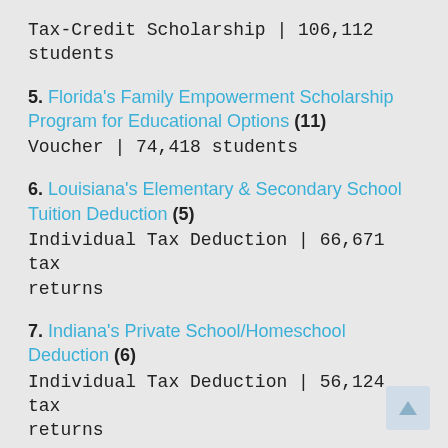Tax-Credit Scholarship | 106,112 students
5. Florida's Family Empowerment Scholarship Program for Educational Options (11)
Voucher | 74,418 students
6. Louisiana's Elementary & Secondary School Tuition Deduction (5)
Individual Tax Deduction | 66,671 tax returns
7. Indiana's Private School/Homeschool Deduction (6)
Individual Tax Deduction | 56,124 tax returns